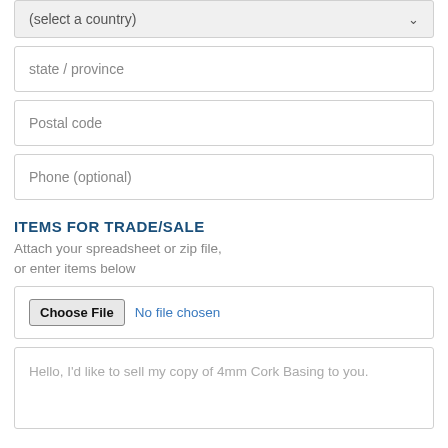(select a country)
state / province
Postal code
Phone (optional)
ITEMS FOR TRADE/SALE
Attach your spreadsheet or zip file,
or enter items below
Choose File  No file chosen
Hello, I'd like to sell my copy of 4mm Cork Basing to you.